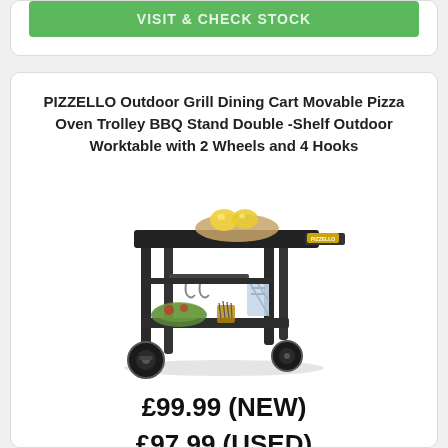[Figure (other): Green button with text VISIT & CHECK STOCK]
PIZZELLO Outdoor Grill Dining Cart Movable Pizza Oven Trolley BBQ Stand Double -Shelf Outdoor Worktable with 2 Wheels and 4 Hooks
[Figure (photo): Photo of a black metal outdoor grill dining cart with two shelves, two wheels, hooks, and items on top including lemons on a cutting board, and items on the lower shelf including a salad bowl and knife block.]
£99.99 (NEW)
£97.99 (USED)